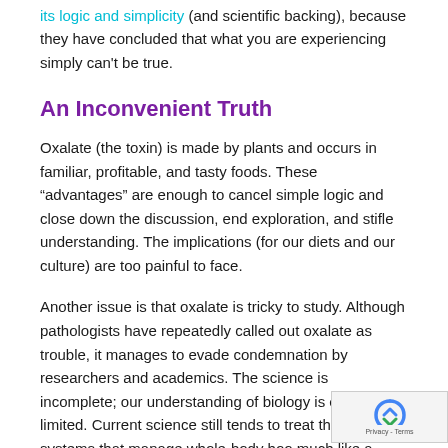its logic and simplicity (and scientific backing), because they have concluded that what you are experiencing simply can't be true.
An Inconvenient Truth
Oxalate (the toxin) is made by plants and occurs in familiar, profitable, and tasty foods. These “advantages” are enough to cancel simple logic and close down the discussion, end exploration, and stifle understanding. The implications (for our diets and our culture) are too painful to face.
Another issue is that oxalate is tricky to study. Although pathologists have repeatedly called out oxalate as trouble, it manages to evade condemnation by researchers and academics. The science is incomplete; our understanding of biology is extremely limited. Current science still tends to treat the biological systems that manage whole-body h... too much like a simple machine, rather than a complex making use of many interacting systems to maintain its being. Specialistic thinking does not it recognize t...